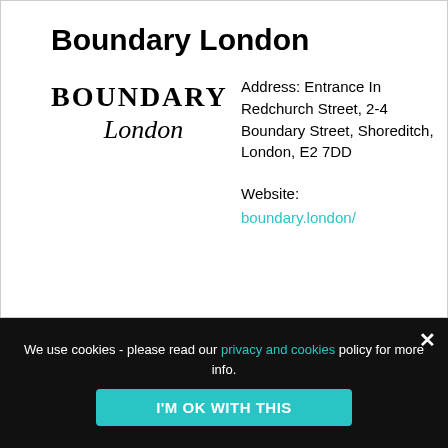Boundary London
[Figure (logo): Boundary London logo with 'BOUNDARY' in bold serif uppercase and 'London' in italic serif below]
Address: Entrance In Redchurch Street, 2-4 Boundary Street, Shoreditch, London, E2 7DD
Website:
boundary.london/
We use cookies - please read our privacy and cookies policy for more info.
I'M OK WITH THIS